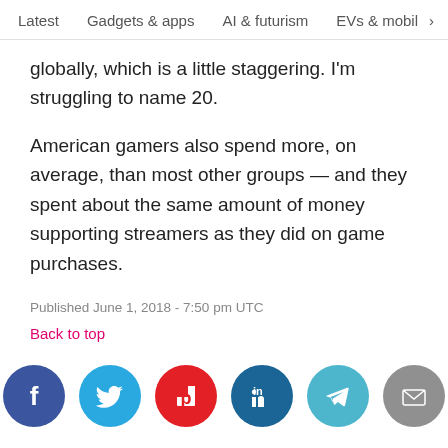Latest   Gadgets & apps   AI & futurism   EVs & mobil  >
globally, which is a little staggering. I'm struggling to name 20.
American gamers also spend more, on average, than most other groups — and they spent about the same amount of money supporting streamers as they did on game purchases.
Published June 1, 2018 - 7:50 pm UTC
Back to top
[Figure (infographic): Row of 6 social sharing icon buttons: Facebook (dark blue), Twitter (light blue), Flipboard (red), LinkedIn (dark teal), Telegram (teal), Email (gray)]